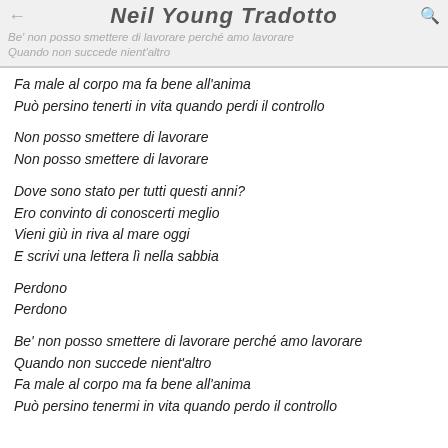Neil Young Tradotto
Be' non posso smettere di lavorare perché amo lavorare
Quando non succede nient'altro
Fa male al corpo ma fa bene all'anima
Può persino tenerti in vita quando perdi il controllo
Non posso smettere di lavorare
Non posso smettere di lavorare
Dove sono stato per tutti questi anni?
Ero convinto di conoscerti meglio
Vieni giù in riva al mare oggi
E scrivi una lettera lì nella sabbia
Perdono
Perdono
Be' non posso smettere di lavorare perché amo lavorare
Quando non succede nient'altro
Fa male al corpo ma fa bene all'anima
Può persino tenermi in vita quando perdo il controllo